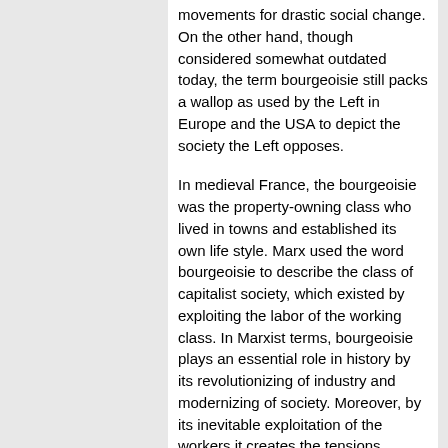movements for drastic social change. On the other hand, though considered somewhat outdated today, the term bourgeoisie still packs a wallop as used by the Left in Europe and the USA to depict the society the Left opposes.
In medieval France, the bourgeoisie was the property-owning class who lived in towns and established its own life style. Marx used the word bourgeoisie to describe the class of capitalist society, which existed by exploiting the labor of the working class. In Marxist terms, bourgeoisie plays an essential role in history by its revolutionizing of industry and modernizing of society. Moreover, by its inevitable exploitation of the workers it creates the tensions necessary to ignite the revolution. Bourgeoisie thus became a term of abuse on the Left for its enemies -- ♦bourgeois values♦ and ♦bourgeois democracy.♦
Though Lenin like Marx fostered the idea of a bourgeois revolution to precede the proletarian revolution, he continued to detest bourgeois reformists as procrastinating and pusillanimous -- a role that ultimately